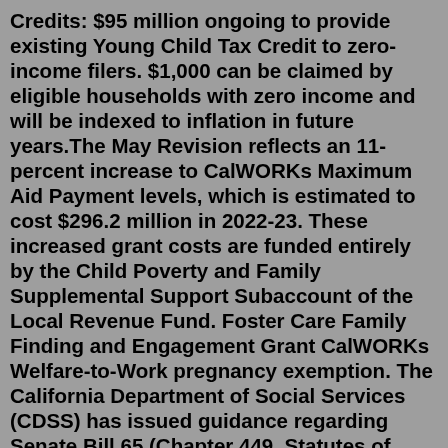Credits: $95 million ongoing to provide existing Young Child Tax Credit to zero-income filers. $1,000 can be claimed by eligible households with zero income and will be indexed to inflation in future years.The May Revision reflects an 11-percent increase to CalWORKs Maximum Aid Payment levels, which is estimated to cost $296.2 million in 2022-23. These increased grant costs are funded entirely by the Child Poverty and Family Supplemental Support Subaccount of the Local Revenue Fund. Foster Care Family Finding and Engagement Grant CalWORKs Welfare-to-Work pregnancy exemption. The California Department of Social Services (CDSS) has issued guidance regarding Senate Bill 65 (Chapter 449, Statutes of 2021) which allows all pregnant persons to be exempt from WTW. Senate Bill 65 initially took effect on the 1st of January 2022 but CDSS delayed notice of this change because ... Sep 22, 2021 · CalWORKs Increase to the Maximum Aid Payment Posted on September 22, 2021 by Stephen Goldberg Effective October 1, 2021